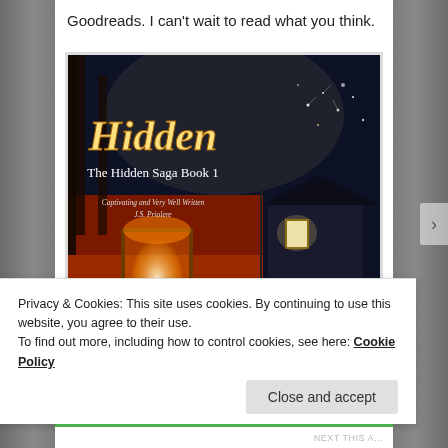Goodreads. I can't wait to read what you think.
[Figure (photo): Book cover of 'Hidden – The Hidden Saga Book 1' showing a girl holding glowing light in her hands with fantasy forest and cottage imagery. Text includes: 'Hidden', 'The Hidden Saga Book 1', 'Captivating and Very Well Written – J.S. Priolere']
Privacy & Cookies: This site uses cookies. By continuing to use this website, you agree to their use.
To find out more, including how to control cookies, see here: Cookie Policy
Close and accept